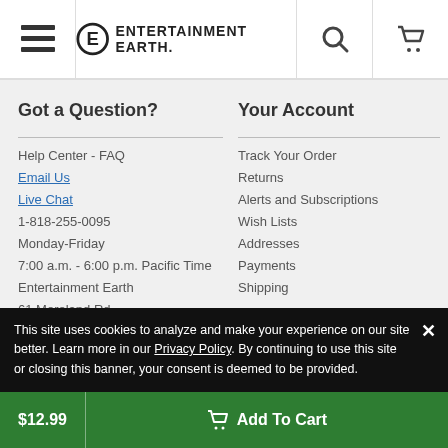Entertainment Earth header with menu, logo, search, and cart icons
Got a Question?
Help Center - FAQ
Email Us
Live Chat
1-818-255-0095
Monday-Friday
7:00 a.m. - 6:00 p.m. Pacific Time
Entertainment Earth
61 Moreland Rd.
Your Account
Track Your Order
Returns
Alerts and Subscriptions
Wish Lists
Addresses
Payments
Shipping
Volume Pricing
This site uses cookies to analyze and make your experience on our site better. Learn more in our Privacy Policy. By continuing to use this site or closing this banner, your consent is deemed to be provided.
$12.99  Add To Cart